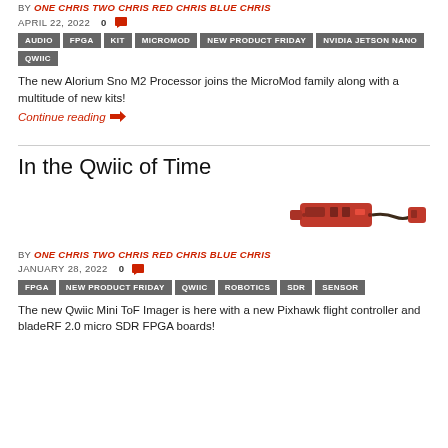BY ONE CHRIS TWO CHRIS RED CHRIS BLUE CHRIS
APRIL 22, 2022  0
AUDIO | FPGA | KIT | MICROMOD | NEW PRODUCT FRIDAY | NVIDIA JETSON NANO | QWIIC
The new Alorium Sno M2 Processor joins the MicroMod family along with a multitude of new kits!
Continue reading →
In the Qwiic of Time
[Figure (photo): Red PCB module connected via wire to a smaller red connector board]
BY ONE CHRIS TWO CHRIS RED CHRIS BLUE CHRIS
JANUARY 28, 2022  0
FPGA | NEW PRODUCT FRIDAY | QWIIC | ROBOTICS | SDR | SENSOR
The new Qwiic Mini ToF Imager is here with a new Pixhawk flight controller and bladeRF 2.0 micro SDR FPGA boards!